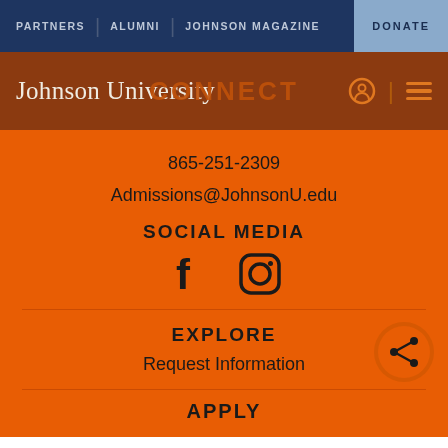PARTNERS | ALUMNI | JOHNSON MAGAZINE | DONATE
[Figure (logo): Johnson University logo with serif text and navigation icons (search, hamburger menu) on dark orange/brown header bar. CONNECT text overlaid.]
865-251-2309
Admissions@JohnsonU.edu
SOCIAL MEDIA
[Figure (illustration): Facebook and Instagram social media icons in dark color on orange background]
EXPLORE
Request Information
[Figure (illustration): Share button icon - circle with share/network symbol on orange background]
APPLY